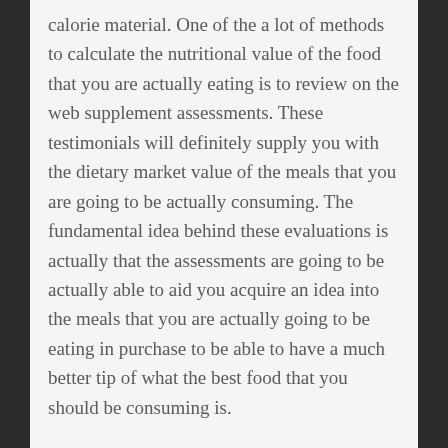calorie material. One of the a lot of methods to calculate the nutritional value of the food that you are actually eating is to review on the web supplement assessments. These testimonials will definitely supply you with the dietary market value of the meals that you are going to be actually consuming. The fundamental idea behind these evaluations is actually that the assessments are going to be actually able to aid you acquire an idea into the meals that you are actually going to be eating in purchase to be able to have a much better tip of what the best food that you should be consuming is.
In addition, through understanding the dietary worth of the meals that you are actually eating, you will be capable to take full advantage of the possibilities of you coming to be healthy as well as tough.